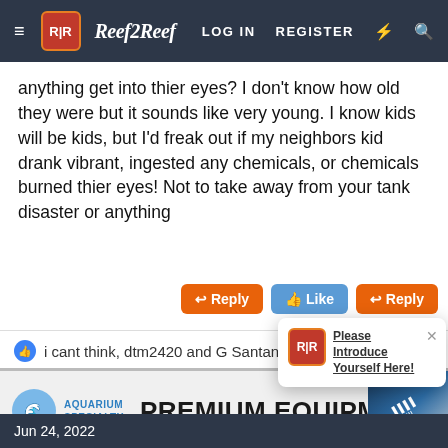≡  R|R Reef2Reef   LOG IN   REGISTER   ⚡  🔍
anything get into thier eyes? I don't know how old they were but it sounds like very young. I know kids will be kids, but I'd freak out if my neighbors kid drank vibrant, ingested any chemicals, or chemicals burned thier eyes! Not to take away from your tank disaster or anything
↩ Reply   👍 Like   ↩ Reply
👍 i cant think, dtm2420 and G Santana
[Figure (screenshot): Advertisement banner for Aquarium Specialty featuring PREMIUM EQUIPMENT text and logo]
[Figure (screenshot): Popup notification saying Please Introduce Yourself Here! with Reef2Reef logo icon and X close button]
Jun 24, 2022